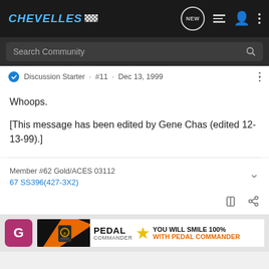CHEVELLES [logo]
Search Community
Discussion Starter · #11 · Dec 13, 1999
Whoops.

[This message has been edited by Gene Chas (edited 12-13-99).]
Member #62 Gold/ACES 03112
67 SS396(427-3X2)
G [avatar] PEDAL COMMANDER — YOU WILL SMILE 100% WITH PEDAL COMMANDER